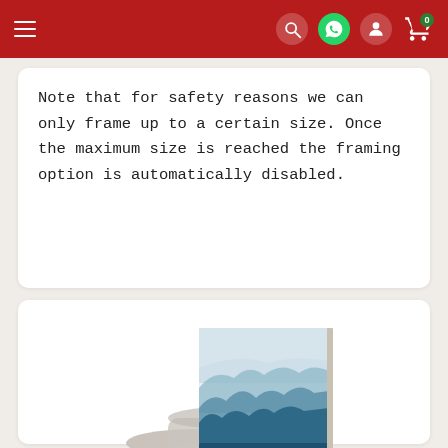Navigation bar with menu, search, WhatsApp, account, and cart (0) icons
Note that for safety reasons we can only frame up to a certain size. Once the maximum size is reached the framing option is automatically disabled.
[Figure (photo): A canvas print of misty mountains leaning against rolled canvas prints/scrolls on a white background]
Purchasing a Stretching Service
If you are planning to frame your painting yourself, use an existing frame, or frame it locally, you may choose to order